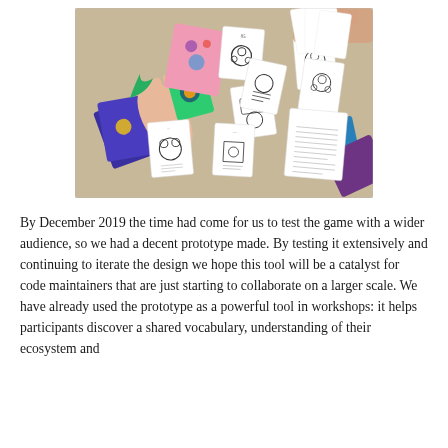[Figure (photo): Overhead photo of a table with multiple card game cards spread out. Hands are visible reaching for the cards. Cards include colorful illustrated cards in purple, green, pink and blue, as well as white cards with black line-art illustrations of characters and diagrams.]
By December 2019 the time had come for us to test the game with a wider audience, so we had a decent prototype made. By testing it extensively and continuing to iterate the design we hope this tool will be a catalyst for code maintainers that are just starting to collaborate on a larger scale. We have already used the prototype as a powerful tool in workshops: it helps participants discover a shared vocabulary, understanding of their ecosystem and